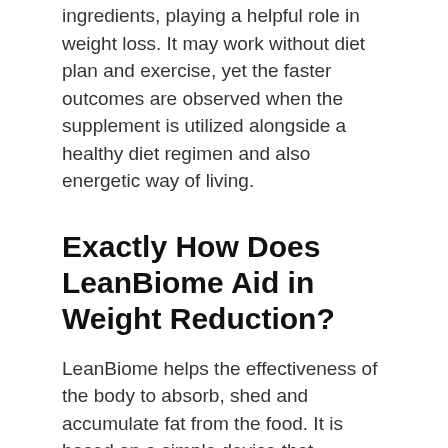ingredients, playing a helpful role in weight loss. It may work without diet plan and exercise, yet the faster outcomes are observed when the supplement is utilized alongside a healthy diet regimen and also energetic way of living.
Exactly How Does LeanBiome Aid in Weight Reduction?
LeanBiome helps the effectiveness of the body to absorb, shed and accumulate fat from the food. It is based on a simple device that microbial pressures in the body are associated with digestion as well as weight monitoring. Diet plan pills are often considered harmful and high-risk, which is true when you are selecting an artificial